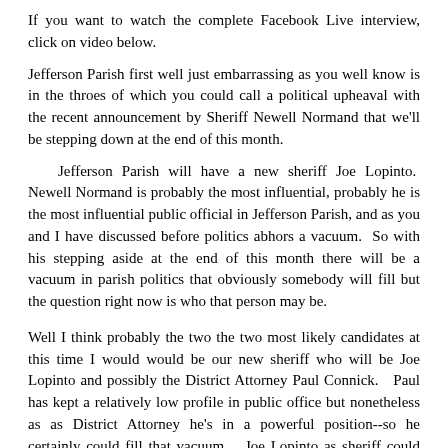If you want to watch the complete Facebook Live interview, click on video below.
Jefferson Parish first well just embarrassing as you well know is in the throes of which you could call a political upheaval with the recent announcement by Sheriff Newell Normand that we'll be stepping down at the end of this month.
Jefferson Parish will have a new sheriff Joe Lopinto. Newell Normand is probably the most influential, probably he is the most influential public official in Jefferson Parish, and as you and I have discussed before politics abhors a vacuum. So with his stepping aside at the end of this month there will be a vacuum in parish politics that obviously somebody will fill but the question right now is who that person may be.
Well I think probably the two the two most likely candidates at this time I would would be our new sheriff who will be Joe Lopinto and possibly the District Attorney Paul Connick. Paul has kept a relatively low profile in public office but nonetheless as as District Attorney he's in a powerful position--so he certainly could fill that vacuum. Joe Lopinto as sheriff could also readily fill that vacuum. So the person could be that person we'll be in individual...